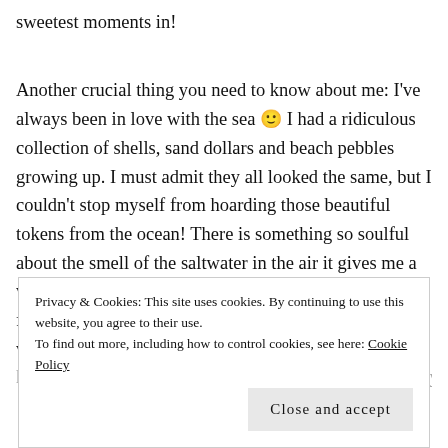sweetest moments in!

Another crucial thing you need to know about me: I've always been in love with the sea 🙂 I had a ridiculous collection of shells, sand dollars and beach pebbles growing up. I must admit they all looked the same, but I couldn't stop myself from hoarding those beautiful tokens from the ocean! There is something so soulful about the smell of the saltwater in the air it gives me a warm fuzzy feeling in my stomach and no matter the freezing temperatures, if it is a new beach or body of water I haven't been to yet, my toes are going in it!!! This is why...
Privacy & Cookies: This site uses cookies. By continuing to use this website, you agree to their use.
To find out more, including how to control cookies, see here: Cookie Policy
Close and accept